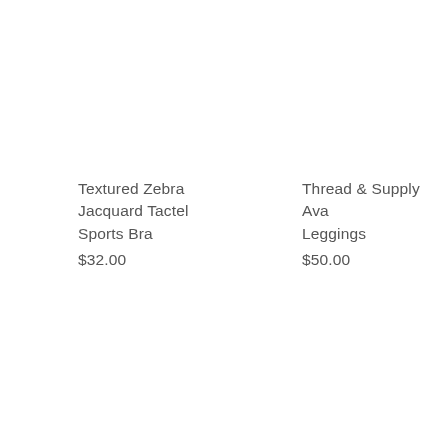Textured Zebra Jacquard Tactel Sports Bra
$32.00
Thread & Supply Ava Leggings
$50.00